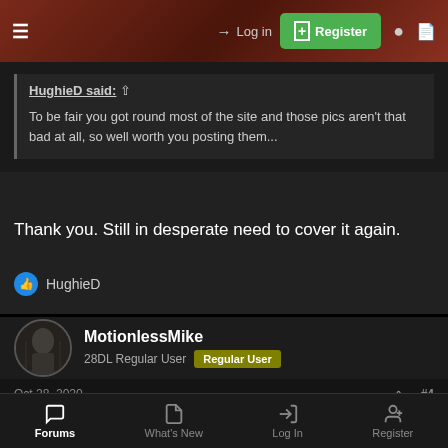≡  → Log in  ⊕ Register
HughieD said: ↑

To be fair you got round most of the site and those pics aren't that bad at all, so well worth you posting them...
Thank you. Still in desperate need to cover it again.
👍 HughieD
MotionlessMike
28DL Regular User  [Regular User]
Oct 28, 2020   #4
Nice stuff, never got tired of seeing this one
Forums  What's New  Log In  Register